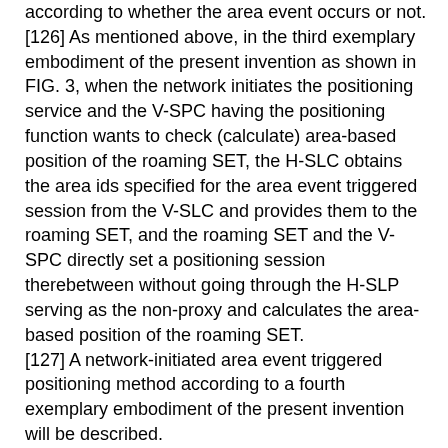according to whether the area event occurs or not. [126] As mentioned above, in the third exemplary embodiment of the present invention as shown in FIG. 3, when the network initiates the positioning service and the V-SPC having the positioning function wants to check (calculate) area-based position of the roaming SET, the H-SLC obtains the area ids specified for the area event triggered session from the V-SLC and provides them to the roaming SET, and the roaming SET and the V-SPC directly set a positioning session therebetween without going through the H-SLP serving as the non-proxy and calculates the area-based position of the roaming SET. [127] A network-initiated area event triggered positioning method according to a fourth exemplary embodiment of the present invention will be described. [128] FIG. 4 is a network-initiated area event triggered positioning method according to a